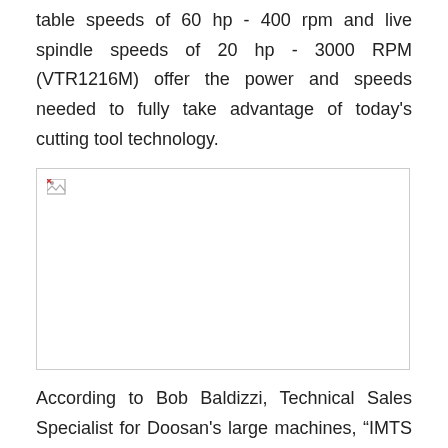table speeds of 60 hp - 400 rpm and live spindle speeds of 20 hp - 3000 RPM (VTR1216M) offer the power and speeds needed to fully take advantage of today's cutting tool technology.
[Figure (photo): Broken/missing image placeholder representing a photo of a Doosan machine tool]
According to Bob Baldizzi, Technical Sales Specialist for Doosan's large machines, “IMTS attendees will want to see the new Pumas because they are the world’s first